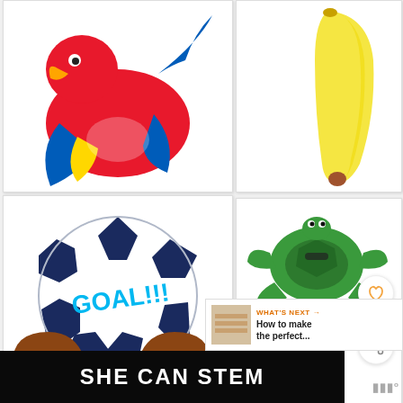[Figure (photo): Inflatable red parrot pool float toy]
[Figure (photo): Inflatable yellow banana/pencil shape]
[Figure (photo): Inflatable soccer ball pool float with GOAL!!! text]
[Figure (photo): Inflatable green sea turtle ride-on]
[Figure (photo): Inflatable pretzel pool float with child]
[Figure (photo): Inflatable yellow corn/cactus pool float]
SHE CAN STEM
305
WHAT'S NEXT → How to make the perfect...